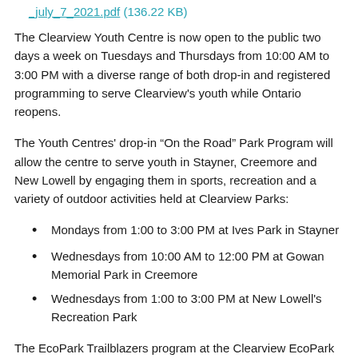_july_7_2021.pdf (136.22 KB)
The Clearview Youth Centre is now open to the public two days a week on Tuesdays and Thursdays from 10:00 AM to 3:00 PM with a diverse range of both drop-in and registered programming to serve Clearview's youth while Ontario reopens.
The Youth Centres' drop-in "On the Road" Park Program will allow the centre to serve youth in Stayner, Creemore and New Lowell by engaging them in sports, recreation and a variety of outdoor activities held at Clearview Parks:
Mondays from 1:00 to 3:00 PM at Ives Park in Stayner
Wednesdays from 10:00 AM to 12:00 PM at Gowan Memorial Park in Creemore
Wednesdays from 1:00 to 3:00 PM at New Lowell's Recreation Park
The EcoPark Trailblazers program at the Clearview EcoPark on Mondays from 10:00 AM to 2:00 PM provides an